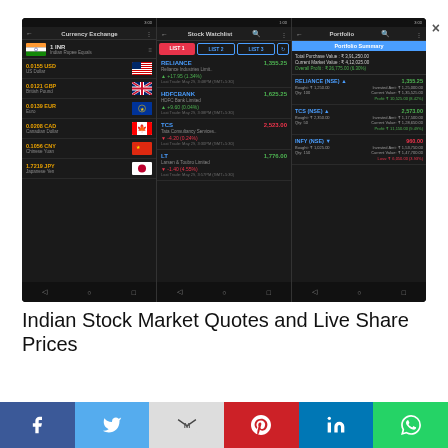[Figure (screenshot): Mobile app screenshot showing three panels: Currency Exchange (1 INR = rates for USD, GBP, EUR, CAD, CNY, JPY), Stock Watchlist (RELIANCE, HDFCBANK, TCS, LT with prices and changes), and Portfolio (Portfolio Summary with RELIANCE, TCS, INFY holdings)]
Indian Stock Market Quotes and Live Share Prices
[Figure (infographic): Social sharing bar with Facebook, Twitter, Gmail/Mail, Pinterest, LinkedIn, WhatsApp buttons]